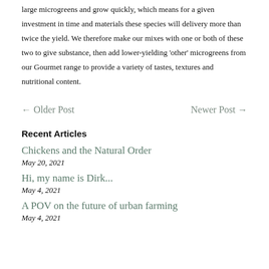large microgreens and grow quickly, which means for a given investment in time and materials these species will delivery more than twice the yield. We therefore make our mixes with one or both of these two to give substance, then add lower-yielding 'other' microgreens from our Gourmet range to provide a variety of tastes, textures and nutritional content.
← Older Post
Newer Post →
Recent Articles
Chickens and the Natural Order
May 20, 2021
Hi, my name is Dirk...
May 4, 2021
A POV on the future of urban farming
May 4, 2021